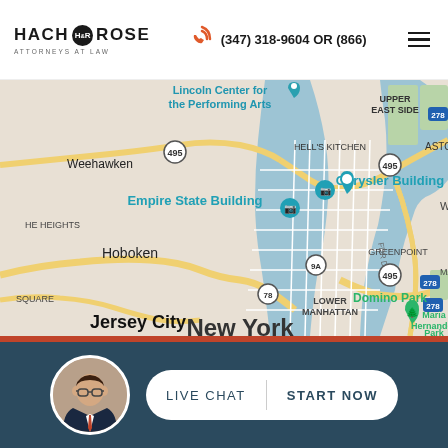HACH ROSE ATTORNEYS AT LAW — (347) 318-9604 OR (866)
[Figure (map): Google Maps screenshot showing New York City area including Midtown Manhattan, Weehawken, Hoboken, Jersey City, Hell's Kitchen, Upper East Side, Astoria, Greenpoint, Lower Manhattan, Empire State Building, Chrysler Building, Lincoln Center for the Performing Arts, Domino Park, Maria Hernandez Park]
LIVE CHAT   START NOW